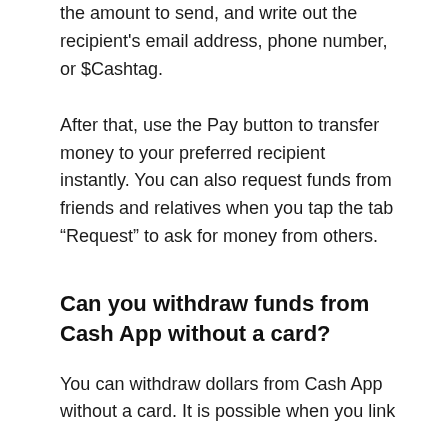the amount to send, and write out the recipient's email address, phone number, or $Cashtag.
After that, use the Pay button to transfer money to your preferred recipient instantly. You can also request funds from friends and relatives when you tap the tab “Request” to ask for money from others.
Can you withdraw funds from Cash App without a card?
You can withdraw dollars from Cash App without a card. It is possible when you link